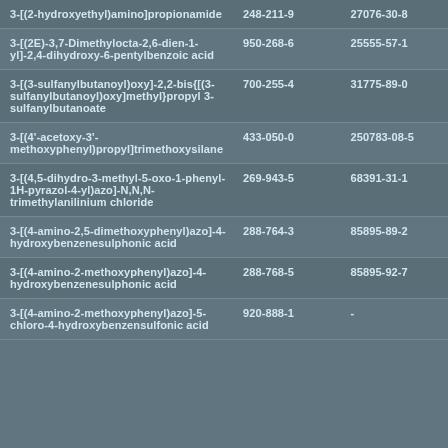| 3-[(2-hydroxyethyl)amino]propionamide | 248-211-9 | 27076-30-8 |
| 3-[(2E)-3,7-Dimethylocta-2,6-dien-1-yl]-2,4-dihydroxy-6-pentylbenzoic acid | 950-268-6 | 25555-57-1 |
| 3-[(3-sulfanylbutanoyl)oxy]-2,2-bis{[(3-sulfanylbutanoyl)oxy]methyl}propyl 3-sulfanylbutanoate | 700-255-4 | 31775-89-0 |
| 3-[(4'-acetoxy-3'-methoxyphenyl)propyl]trimethoxysilane | 433-050-0 | 250783-08-5 |
| 3-[(4,5-dihydro-3-methyl-5-oxo-1-phenyl-1H-pyrazol-4-yl)azo]-N,N,N-trimethylanilinium chloride | 269-943-5 | 68391-31-1 |
| 3-[(4-amino-2,5-dimethoxyphenyl)azo]-4-hydroxybenzenesulphonic acid | 288-764-3 | 85895-89-2 |
| 3-[(4-amino-2-methoxyphenyl)azo]-4-hydroxybenzenesulphonic acid | 288-768-5 | 85895-92-7 |
| 3-[(4-amino-2-methoxyphenyl)azo]-5-chloro-4-hydroxybenzensulfonic acid | 920-888-1 | - |